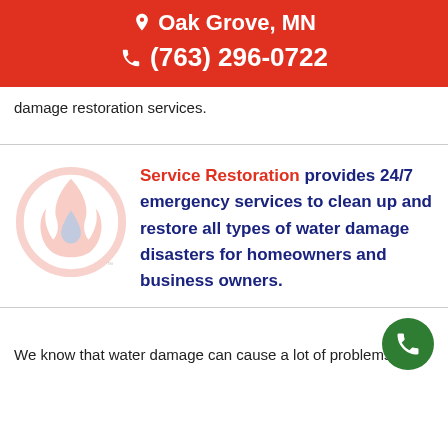Oak Grove, MN
(763) 296-0722
damage restoration services.
Service Restoration provides 24/7 emergency services to clean up and restore all types of water damage disasters for homeowners and business owners.
We know that water damage can cause a lot of problems